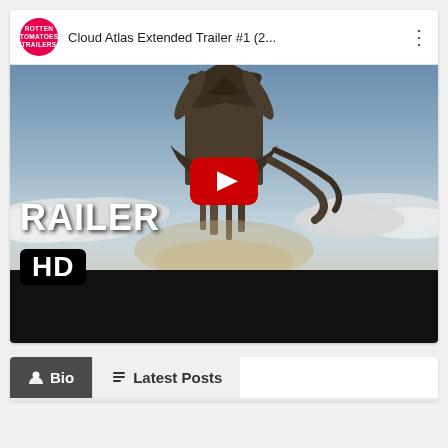[Figure (screenshot): YouTube video card showing 'Cloud Atlas Extended Trailer #1 (2...' with a movie trailer thumbnail featuring a dramatic sci-fi structure above clouds, a red YouTube play button in the center, 'RAILER' text visible in white on the lower left, and an 'HD' badge. Below is a tab bar with 'Bio' (dark/selected) and 'Latest Posts' tabs.]